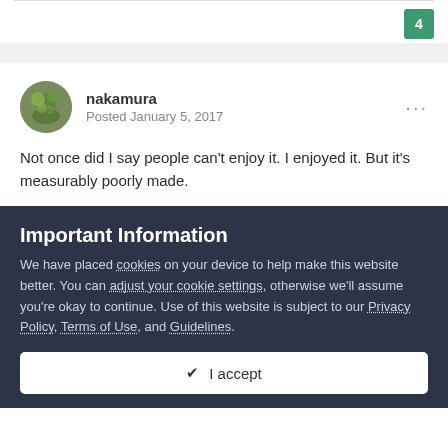4
nakamura
Posted January 5, 2017
Not once did I say people can't enjoy it. I enjoyed it. But it's measurably poorly made.
Important Information
We have placed cookies on your device to help make this website better. You can adjust your cookie settings, otherwise we'll assume you're okay to continue. Use of this website is subject to our Privacy Policy, Terms of Use, and Guidelines.
✔ I accept